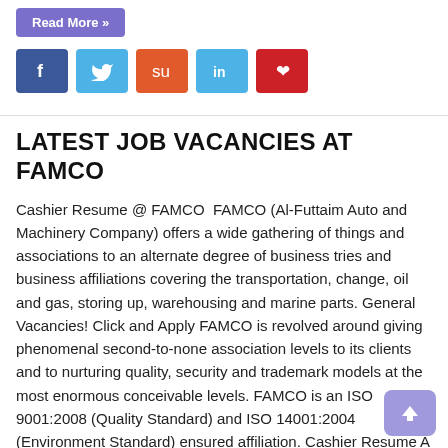[Figure (screenshot): Read More button in purple/lavender color]
[Figure (screenshot): Social media share icons: Facebook (dark blue), Twitter (light blue), StumbleUpon (orange-red), LinkedIn (light blue), Pinterest (red)]
LATEST JOB VACANCIES AT FAMCO
Cashier Resume @ FAMCO  FAMCO (Al-Futtaim Auto and Machinery Company) offers a wide gathering of things and associations to an alternate degree of business tries and business affiliations covering the transportation, change, oil and gas, storing up, warehousing and marine parts. General Vacancies! Click and Apply FAMCO is revolved around giving phenomenal second-to-none association levels to its clients and to nurturing quality, security and trademark models at the most enormous conceivable levels. FAMCO is an ISO 9001:2008 (Quality Standard) and ISO 14001:2004 (Environment Standard) ensured affiliation. Cashier Resume A résumé additionally spelled resume,[1] is a record utilized by a man to show their experiences and aptitudes. Résumés can be utilized for an assortment of reasons, however regularly they are utilized to secure new employment.[2] A run of the mill résumé contains an “outline” of important occupation experience and training, as its French